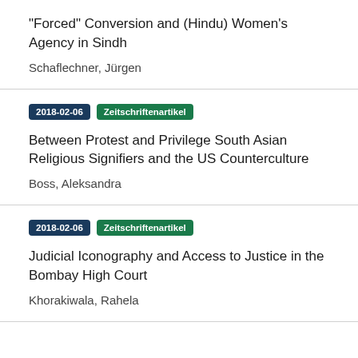"Forced" Conversion and (Hindu) Women's Agency in Sindh
Schaflechner, Jürgen
2018-02-06
Zeitschriftenartikel
Between Protest and Privilege South Asian Religious Signifiers and the US Counterculture
Boss, Aleksandra
2018-02-06
Zeitschriftenartikel
Judicial Iconography and Access to Justice in the Bombay High Court
Khorakiwala, Rahela